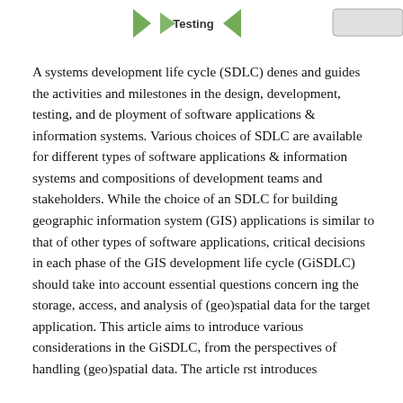[Figure (other): Partial diagram showing 'Testing' label with green arrow/leaf decorative elements and a partially visible rectangular button/badge element on the right side. This is a fragment of a larger GIS development life cycle diagram.]
A systems development life cycle (SDLC) denes and guides the activities and milestones in the design, development, testing, and de ployment of software applications & information systems. Various choices of SDLC are available for different types of software applications & information systems and compositions of development teams and stakeholders. While the choice of an SDLC for building geographic information system (GIS) applications is similar to that of other types of software applications, critical decisions in each phase of the GIS development life cycle (GiSDLC) should take into account essential questions concern ing the storage, access, and analysis of (geo)spatial data for the target application. This article aims to introduce various considerations in the GiSDLC, from the perspectives of handling (geo)spatial data. The article rst introduces